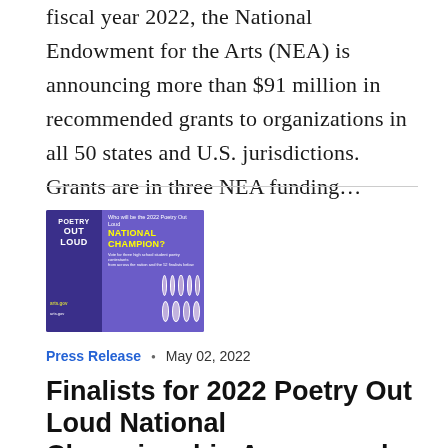fiscal year 2022, the National Endowment for the Arts (NEA) is announcing more than $91 million in recommended grants to organizations in all 50 states and U.S. jurisdictions. Grants are in three NEA funding…
[Figure (photo): Poetry Out Loud promotional poster showing 'Who will be the 2022 Poetry Out Loud NATIONAL CHAMPION?' with contestant photos on a purple background and arts.gov branding]
Press Release • May 02, 2022
Finalists for 2022 Poetry Out Loud National Championship Announced